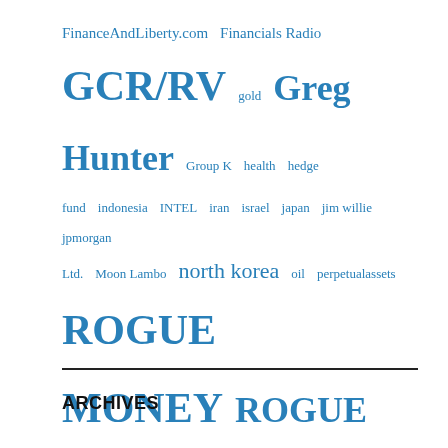FinanceAndLiberty.com  Financials Radio  GCR/RV  gold  Greg Hunter  Group K  health  hedge fund  indonesia  INTEL  iran  israel  japan  jim willie  jpmorgan Ltd.  Moon Lambo  north korea  oil  perpetualassets  ROGUE MONEY  ROGUE NEWS  RogueNews  russia  Santa Surfing Beach Broadcast  saudi arabia  Silver Bullion TV  SilverDoctors  Silver The Antidote  stock market  syria  The Bearable Bull  THE ELIJAH K. JOHNSON REPORT  THE XRP BULLY  trump  us  us national debt  venezuela  whatdoesitmean  william mount
ARCHIVES